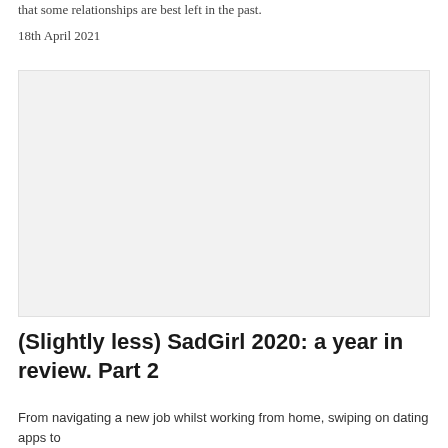that some relationships are best left in the past.
18th April 2021
[Figure (photo): A large light grey placeholder image representing a photo associated with the article]
(Slightly less) SadGirl 2020: a year in review. Part 2
From navigating a new job whilst working from home, swiping on dating apps to